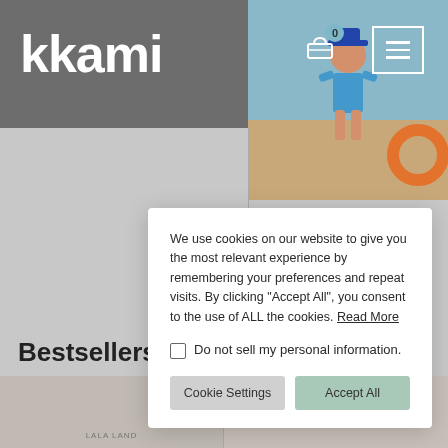kkami
[Figure (photo): Screenshot of kkami website header with logo, shopping cart icon with badge showing 0, hamburger menu, and a hero image of a person near a pool]
Bestsellers
[Figure (screenshot): Cookie consent modal with text about cookie usage, checkbox for do not sell personal information, and two buttons: Cookie Settings and Accept All]
We use cookies on our website to give you the most relevant experience by remembering your preferences and repeat visits. By clicking “Accept All”, you consent to the use of ALL the cookies. Read More
Do not sell my personal information.
Cookie Settings
Accept All